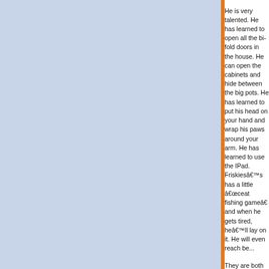He is very talented. He has learned to open all the bi-fold doors in the house. He can open the cabinets and hide between the big pots. He has learned to put his head on your hand and wrap his paws around your arm. He has learned to use the IPad. Friskiesâ€™s has a little â€œcat fishing gameâ€ and when he gets tired, heâ€™ll lay on it. He will even reach between...
They are both in good health. Jasper has been to the v...
Now, two quick storiesâ€¦
The last time my book club was here, I warned everyone that Friskies would probably stay upstairs. Jasper is the friendly one. Sure enough, Jasper came in, went to everyone to get his pets, drank out of everyone's glasses, lay in the middle of the group and went to sleep. As we were leaving, he proceeded to walk across the lap of everyone seated on the sofa like a balance tree. I was flabbergasted!
On Creation Sunday, our church does a blessing of the animals. I gathered both Harriet and Jasper, loaded them in their crates and took them. Harriet sat service like the little lady she is. The dogs and other animals did great during the service. Jasper, on the other hand, could not be ext...